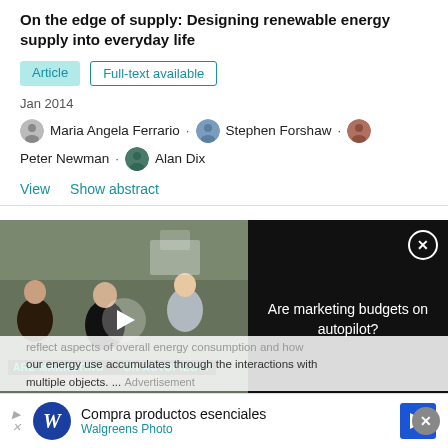On the edge of supply: Designing renewable energy supply into everyday life
Article   Full-text available
Jan 2014
Maria Angela Ferrario · Stephen Forshaw · Peter Newman · Alan Dix
View   Show abstract
[Figure (screenshot): Video overlay showing people in a meeting/workshop setting with text 'ARE MARKETING ... ON AUTOPILOT?' and a play button. Right side black panel reads 'Are marketing budgets on autopilot?' with a close button (X).]
reflect aspects of overall energy consumption and how our energy use accumulates through the interactions with multiple objects. ... Advertisement
Compra productos esenciales Walgreens Photo